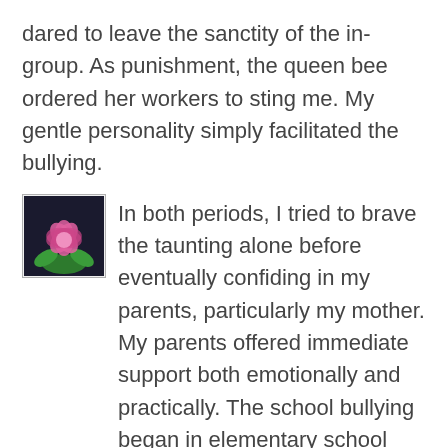dared to leave the sanctity of the in-group. As punishment, the queen bee ordered her workers to sting me. My gentle personality simply facilitated the bullying.
[Figure (illustration): Small square avatar image showing a pink lotus flower with green leaves on a dark background, bordered by a thin gray border.]
In both periods, I tried to brave the taunting alone before eventually confiding in my parents, particularly my mother. My parents offered immediate support both emotionally and practically. The school bullying began in elementary school and continued in junior high school when the bullies and I graduated from grade six and switched schools for grade seven. This occurred in the 1980s, before schools had anti-bullying programs, as some now do. My parents spoke to several of my teachers at both schools. Most teachers were sympathetic and promised to look out for me and address bullying if they spotted it. Yet I can recall my